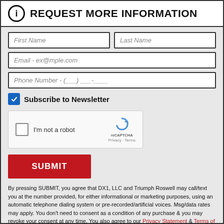REQUEST MORE INFORMATION
First Name
Last Name
Email - ex@mple.com
Phone Number - (___) ___-____
Subscribe to Newsletter
[Figure (other): reCAPTCHA widget with checkbox, text I'm not a robot, and reCAPTCHA logo]
SUBMIT
By pressing SUBMIT, you agree that DX1, LLC and Triumph Roswell may call/text you at the number provided, for either informational or marketing purposes, using an automatic telephone dialing system or pre-recorded/artificial voices. Msg/data rates may apply. You don't need to consent as a condition of any purchase & you may revoke your consent at any time. You also agree to our Privacy Statement & Terms of Use.